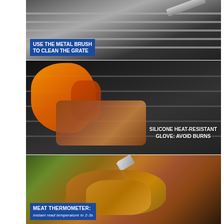[Figure (photo): Metal brush cleaning a grill grate, with label 'USE THE METAL BRUSH TO CLEAN THE GRATE' on blue background]
[Figure (photo): Orange silicone heat-resistant glove gripping meat on a grill grate, with label 'SILICONE HEAT-RESISTANT GLOVE: AVOID BURNS']
[Figure (photo): Meat thermometer being inserted into roasted chicken/meat, with label 'MEAT THERMOMETER: Instant read temperature in 2-3s']
HOMENOTE – Long handle provide better gripthe 16inch overall length and the elongated and thickened oval handle will giving you a good amount of grippyness and the strength to lift even very heavy meats and and better use the cleaning brushThe long handle ensures that you can cook your meat from a safe distance without worry of getting burned and the stainless steel connection part of the tools head is not easy to break Choiceness grill utensils set grilling tools include spatula fork tong meat thermometer